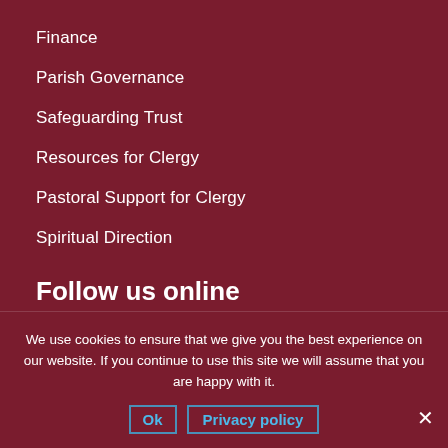Finance
Parish Governance
Safeguarding Trust
Resources for Clergy
Pastoral Support for Clergy
Spiritual Direction
Follow us online
[Figure (logo): YouTube logo icon and Facebook logo icon with labels 'Follow on YouTube' and 'Like on Facebook']
We use cookies to ensure that we give you the best experience on our website. If you continue to use this site we will assume that you are happy with it.
Ok   Privacy policy